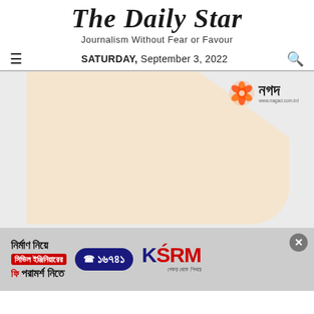The Daily Star
Journalism Without Fear or Favour
SATURDAY, September 3, 2022
[Figure (advertisement): Nagad mobile financial service advertisement with beige/cream background and folded corner effect showing the Nagad logo (orange flower icon with Bengali text নগদ)]
[Figure (advertisement): KSRM steel advertisement in Bengali: নির্মাণ নিয়ে সিভিল ইঞ্জিনিয়ারের ফি পরামর্শ নিতে, with phone number ১৬৭৪১ and KSRM logo with tagline শেকড় থেকে শিখরে]